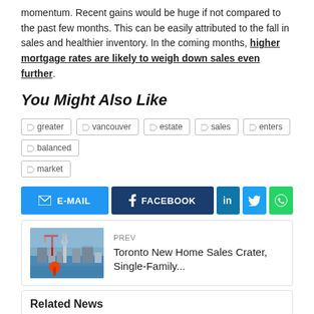momentum. Recent gains would be huge if not compared to the past few months. This can be easily attributed to the fall in sales and healthier inventory. In the coming months, higher mortgage rates are likely to weigh down sales even further.
You Might Also Like
greater
vancouver
estate
sales
enters
balanced
market
[Figure (infographic): Social share buttons: E-MAIL (blue), FACEBOOK (dark blue), LinkedIn (teal), Twitter (light blue), WhatsApp (green)]
PREV
Toronto New Home Sales Crater, Single-Family...
Related News